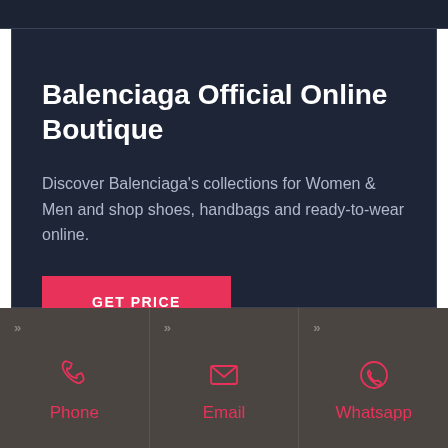Balenciaga Official Online Boutique
Discover Balenciaga's collections for Women & Men and shop shoes, handbags and ready-to-wear online.
GET PRICE
Phone
Email
Whatsapp